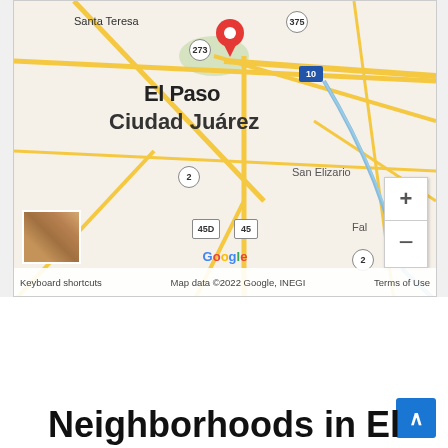[Figure (map): Google Maps view showing El Paso, TX and Ciudad Juárez area with a red location pin, showing Santa Teresa, San Elizario, highway markers (375, 273, 2, 45, 45D), and zoom controls. Map data ©2022 Google, INEGI]
Neighborhoods in El